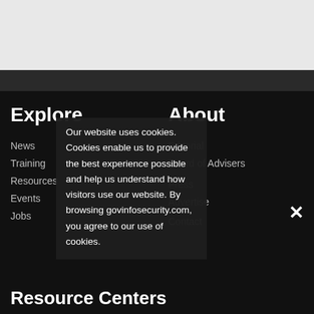Explore
News
Training
Resources
Events
Jobs
About
Editorial
Board of Advisers
Press
Advertise
Contact
Our website uses cookies. Cookies enable us to provide the best experience possible and help us understand how visitors use our website. By browsing govinfosecurity.com, you agree to our use of cookies.
Resource Centers